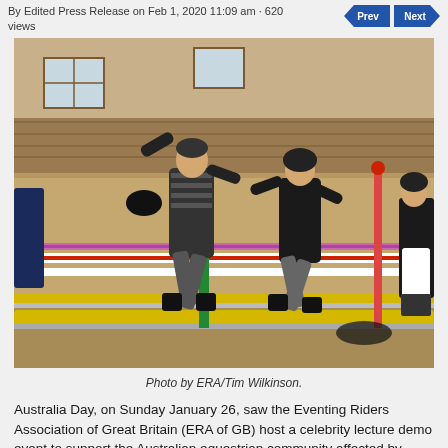By Edited Press Release on Feb 1, 2020 11:09 am · 620 views
[Figure (photo): People jumping over equestrian show jump poles (yellow and grey bars) in an indoor arena with sand footing and wooden walls. Two men in black clothing are mid-jump, one wearing a striped top and the other in black. Another person is visible in the background on the right.]
Photo by ERA/Tim Wilkinson.
Australia Day, on Sunday January 26, saw the Eventing Riders Association of Great Britain (ERA of GB) host a celebrity lecture demo event to support the Australian equestrian community affected by